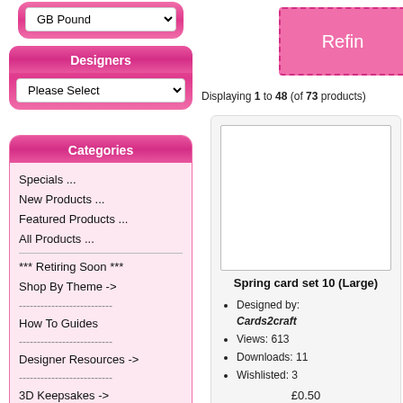[Figure (screenshot): Currency dropdown selector showing GB Pound with dropdown arrow]
Designers
[Figure (screenshot): Please Select dropdown for Designers]
Categories
Specials ...
New Products ...
Featured Products ...
All Products ...
*** Retiring Soon ***
Shop By Theme ->
How To Guides
Designer Resources ->
3D Keepsakes ->
Alphas & Numbers
Backing Paper Sets ->
Backing Paper Singles ->
Refin
Displaying 1 to 48 (of 73 products)
Spring card set 10 (Large)
Designed by: Cards2craft
Views: 613
Downloads: 11
Wishlisted: 3
£0.50